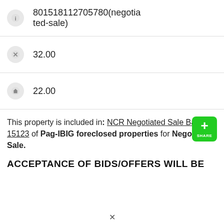801518112705780(negotiated-sale)
32.00
22.00
This property is included in: NCR Negotiated Sale Batch # 15123 of Pag-IBIG foreclosed properties for Negotiated Sale.
[Figure (other): Green share button with plus sign and SHARE label]
ACCEPTANCE OF BIDS/OFFERS WILL BE